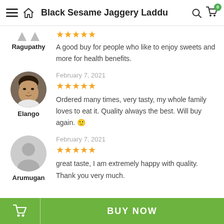Black Sesame Jaggery Laddu
A good buy for people who like to enjoy sweets and more for health benefits.
[Figure (photo): Circular profile photo of Elango, a man]
Ragupathy
February 7, 2021
Ordered many times, very tasty, my whole family loves to eat it. Quality always the best. Will buy again. 🙂
Elango
[Figure (illustration): Generic grey placeholder avatar icon]
February 7, 2021
great taste, I am extremely happy with quality. Thank you very much.
Arumugan